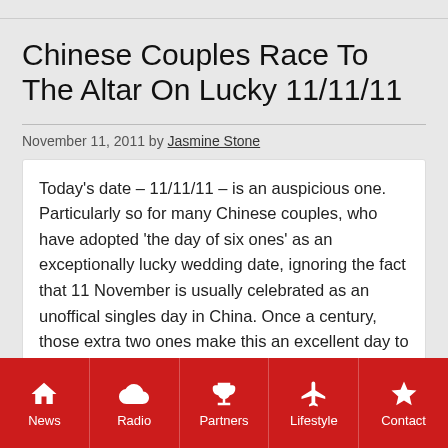Chinese Couples Race To The Altar On Lucky 11/11/11
November 11, 2011 by Jasmine Stone
Today's date – 11/11/11 – is an auspicious one. Particularly so for many Chinese couples, who have adopted 'the day of six ones' as an exceptionally lucky wedding date, ignoring the fact that 11 November is usually celebrated as an unoffical singles day in China. Once a century, those extra two ones make this an excellent day to leave the single life behind.
News | Radio | Partners | Lifestyle | Contact